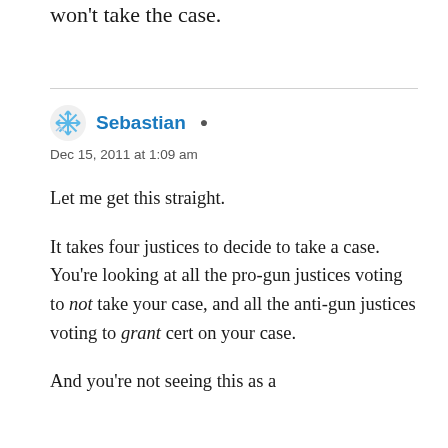won't take the case.
Sebastian ▲
Dec 15, 2011 at 1:09 am
Let me get this straight.
It takes four justices to decide to take a case. You're looking at all the pro-gun justices voting to not take your case, and all the anti-gun justices voting to grant cert on your case.
And you're not seeing this as a